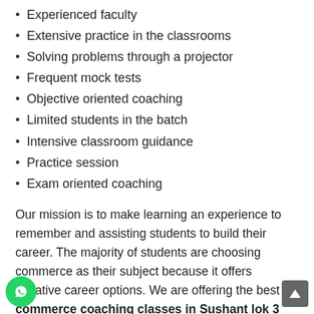Experienced faculty
Extensive practice in the classrooms
Solving problems through a projector
Frequent mock tests
Objective oriented coaching
Limited students in the batch
Intensive classroom guidance
Practice session
Exam oriented coaching
Our mission is to make learning an experience to remember and assisting students to build their career. The majority of students are choosing commerce as their subject because it offers lucrative career options. We are offering the best commerce coaching classes in Sushant lok 3 Gurgaon that bridges the gap between academics and industry and develop employable skills in them as they pursue the professional career and prepare face any challenges. Our students are acquiring knowledge to survive in modern day's business world. Maximum numbers of